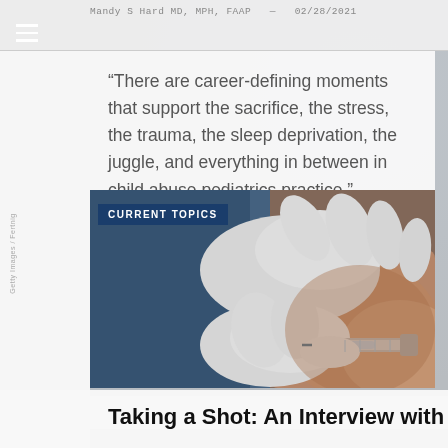Mandy S Hard MD, MPH, FAAP — 02/28/2021
"There are career-defining moments that support the sacrifice, the stress, the trauma, the sleep deprivation, the juggle, and everything in between in child abuse pediatrics practice."
[Figure (photo): Close-up photo of a gloved medical professional administering a vaccine injection into a patient's arm. A blue label reads 'CURRENT TOPICS' in the upper left of the image.]
Taking a Shot: An Interview with